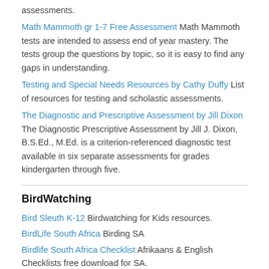assessments.
Math Mammoth gr 1-7 Free Assessment Math Mammoth tests are intended to assess end of year mastery. The tests group the questions by topic, so it is easy to find any gaps in understanding.
Testing and Special Needs Resources by Cathy Duffy List of resources for testing and scholastic assessments.
The Diagnostic and Prescriptive Assessment by Jill Dixon The Diagnostic Prescriptive Assessment by Jill J. Dixon, B.S.Ed., M.Ed. is a criterion-referenced diagnostic test available in six separate assessments for grades kindergarten through five.
BirdWatching
Bird Sleuth K-12 Birdwatching for Kids resources.
BirdLife South Africa Birding SA
Birdlife South Africa Checklist Afrikaans & English Checklists free download for SA.
Birds of the Overberg: Hermanus Bird Club Hermanus Bird Club
Harold Porter Botanical Garden Bird List Free download.